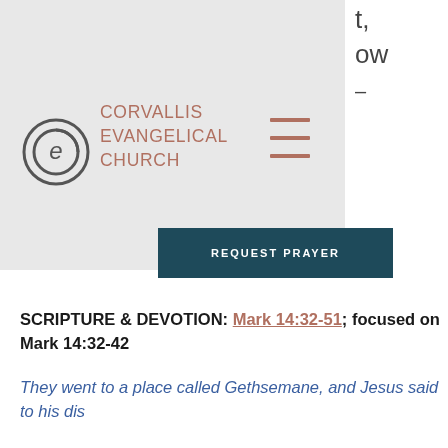t,
ow
–
[Figure (logo): Corvallis Evangelical Church logo: circular 'e' icon with outer ring]
CORVALLIS EVANGELICAL CHURCH
[Figure (other): Hamburger menu icon with three horizontal lines in brownish-red color]
REQUEST PRAYER
SCRIPTURE & DEVOTION: Mark 14:32-51; focused on Mark 14:32-42
They went to a place called Gethsemane, and Jesus said to his disciples...